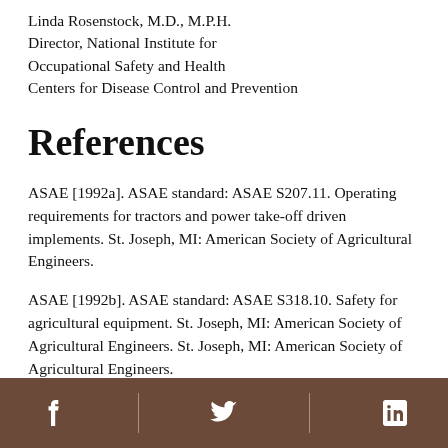Linda Rosenstock, M.D., M.P.H.
Director, National Institute for Occupational Safety and Health
Centers for Disease Control and Prevention
References
ASAE [1992a]. ASAE standard: ASAE S207.11. Operating requirements for tractors and power take-off driven implements. St. Joseph, MI: American Society of Agricultural Engineers.
ASAE [1992b]. ASAE standard: ASAE S318.10. Safety for agricultural equipment. St. Joseph, MI: American Society of Agricultural Engineers. St. Joseph, MI: American Society of Agricultural Engineers.
[Facebook] [Twitter] [LinkedIn]